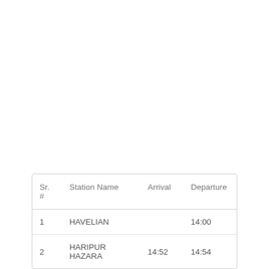| Sr. # | Station Name | Arrival | Departure |
| --- | --- | --- | --- |
| 1 | HAVELIAN |  | 14:00 |
| 2 | HARIPUR HAZARA | 14:52 | 14:54 |